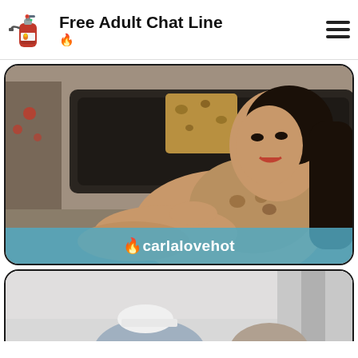Free Adult Chat Line 🔥
[Figure (photo): Woman with long dark hair wearing a leopard print dress, reclining on a dark leather sofa with a leopard print pillow. Living room setting with Christmas decorations visible in background.]
🔥carlalovehot
[Figure (photo): Partial view of another photo card showing a person from behind wearing a white cap in an indoor setting.]